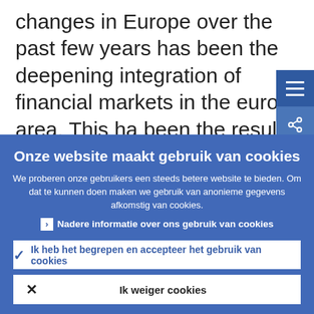changes in Europe over the past few years has been the deepening integration of financial markets in the euro area. This has been the result both of the elimination of
Onze website maakt gebruik van cookies
We proberen onze gebruikers een steeds betere website te bieden. Om dat te kunnen doen maken we gebruik van anonieme gegevens afkomstig van cookies.
Nadere informatie over ons gebruik van cookies
Ik heb het begrepen en accepteer het gebruik van cookies
Ik weiger cookies